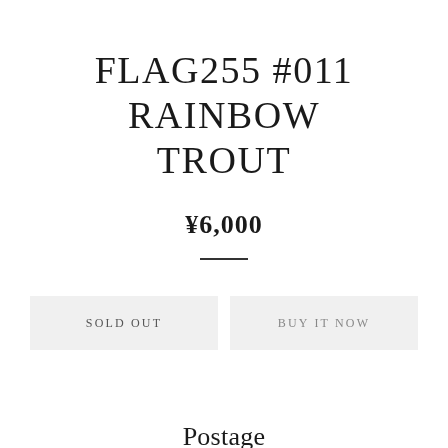FLAG255 #011 RAINBOW TROUT
¥6,000
SOLD OUT
BUY IT NOW
Postage